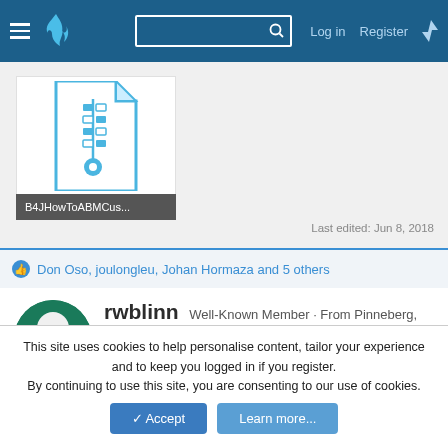Navigation bar with hamburger menu, flame logo, search box, Log in, Register, bolt icon
[Figure (screenshot): File attachment icon: blue zip/archive file icon]
B4JHowToABMCus...
Last edited: Jun 8, 2018
Don Oso, joulongleu, Johan Hormaza and 5 others
rwblinn Well-Known Member · From Pinneberg, Germany
Licensed User   Longtime User
This site uses cookies to help personalise content, tailor your experience and to keep you logged in if you register.
By continuing to use this site, you are consenting to our use of cookies.
✓ Accept   Learn more...